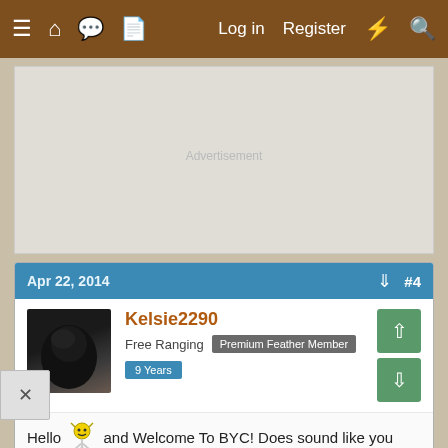≡ 🏠 💬 📄   Log in   Register   ⚡ 🔍
[Figure (other): Advertisement placeholder area, light gray rectangle]
Apr 22, 2014   #4
Kelsie2290
Free Ranging   Premium Feather Member   9 Years
Hello [emoji] and Welcome To BYC! Does sound like you have a bird petting zoo! You might like the caged bird forum https://www.backyardchickens.com/f/57/caged-birds-finches-canaries-cockatiels-parrots-etc